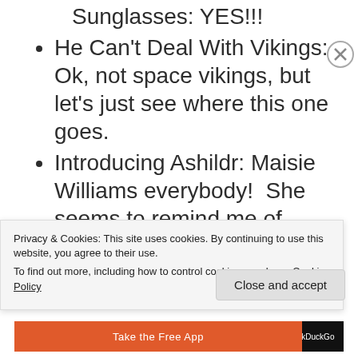Sunglasses: YES!!!
He Can't Deal With Vikings: Ok, not space vikings, but let's just see where this one goes.
Introducing Ashildr: Maisie Williams everybody!  She seems to remind me of
Privacy & Cookies: This site uses cookies. By continuing to use this website, you agree to their use.
To find out more, including how to control cookies, see here: Cookie Policy
Close and accept